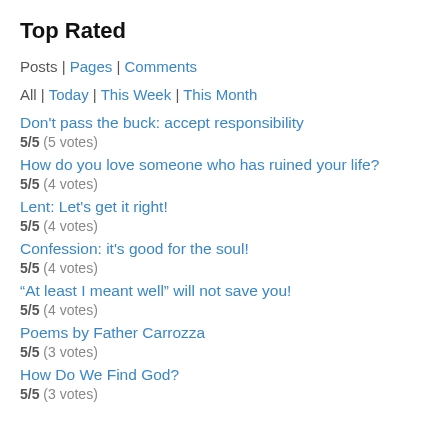Top Rated
Posts | Pages | Comments
All | Today | This Week | This Month
Don't pass the buck: accept responsibility
5/5 (5 votes)
How do you love someone who has ruined your life?
5/5 (4 votes)
Lent: Let's get it right!
5/5 (4 votes)
Confession: it's good for the soul!
5/5 (4 votes)
“At least I meant well” will not save you!
5/5 (4 votes)
Poems by Father Carrozza
5/5 (3 votes)
How Do We Find God?
5/5 (3 votes)